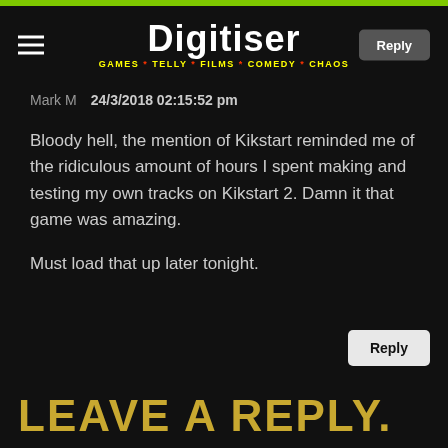Digitiser — GAMES * TELLY * FILMS * COMEDY * CHAOS
Mark M   24/3/2018 02:15:52 pm
Bloody hell, the mention of Kikstart reminded me of the ridiculous amount of hours I spent making and testing my own tracks on Kikstart 2. Damn it that game was amazing.

Must load that up later tonight.
LEAVE A REPLY.